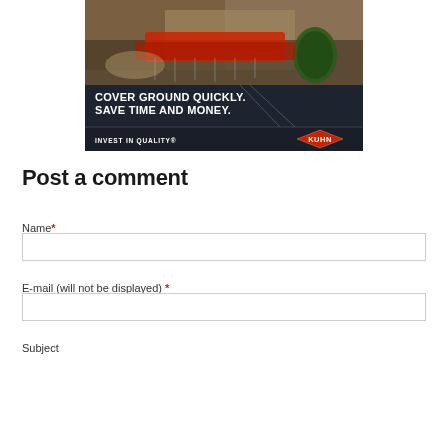[Figure (illustration): Kuhn advertisement showing agricultural tillage equipment (red disc cultivator) working in a field with a tractor, on a dark navy background with white bold text reading 'COVER GROUND QUICKLY. SAVE TIME AND MONEY.' and tagline 'INVEST IN QUALITY®' with the Kuhn red diamond logo.]
Post a comment
Name *
E-mail (will not be displayed) *
Subject